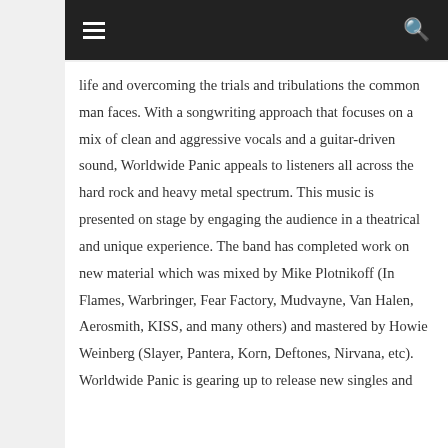[navigation bar with hamburger menu and search icon]
life and overcoming the trials and tribulations the common man faces. With a songwriting approach that focuses on a mix of clean and aggressive vocals and a guitar-driven sound, Worldwide Panic appeals to listeners all across the hard rock and heavy metal spectrum. This music is presented on stage by engaging the audience in a theatrical and unique experience. The band has completed work on new material which was mixed by Mike Plotnikoff (In Flames, Warbringer, Fear Factory, Mudvayne, Van Halen, Aerosmith, KISS, and many others) and mastered by Howie Weinberg (Slayer, Pantera, Korn, Deftones, Nirvana, etc). Worldwide Panic is gearing up to release new singles and